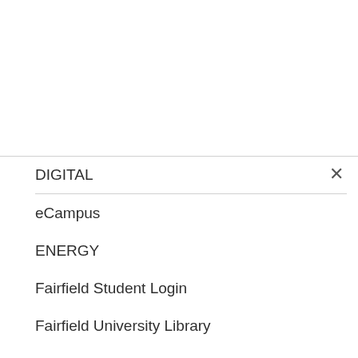DIGITAL
eCampus
ENERGY
Fairfield Student Login
Fairfield University Library
FARMING
FASHION
FOOD
FOOTPRINT
GARDEN
GOING GREEN
Google Docs Tips
Great Lakes Student Loans